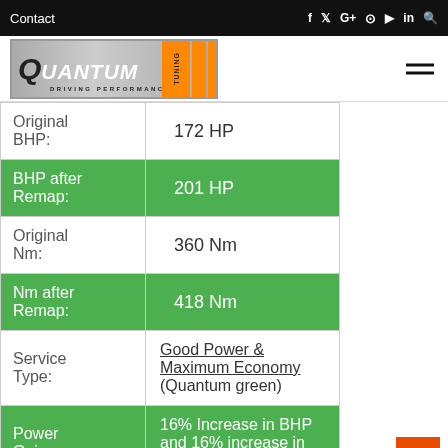Contact  f  y  G+  Instagram  YouTube  in  Search
[Figure (logo): Quantum Tuning - Driving Performance logo with orange stripes]
| Original BHP: | 172 HP |
| BHP after Remap: | 201 HP |
| Original Nm: | 360 Nm |
| Nm after Remap: | 418 Nm |
| Service Type: | Good Power & Maximum Economy (Quantum green) |
| Power Gains: | 16% Increase in BHP and 16% increase in Nm |